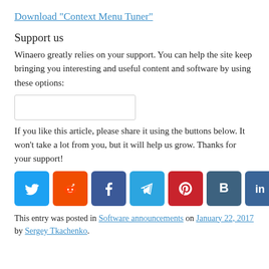Download "Context Menu Tuner"
Support us
Winaero greatly relies on your support. You can help the site keep bringing you interesting and useful content and software by using these options:
[Figure (other): Donation/support input box (empty rectangle)]
If you like this article, please share it using the buttons below. It won't take a lot from you, but it will help us grow. Thanks for your support!
[Figure (other): Row of 8 social media share buttons: Twitter, Reddit, Facebook, Telegram, Pinterest, Buffer, LinkedIn, Teams]
This entry was posted in Software announcements on January 22, 2017 by Sergey Tkachenko.